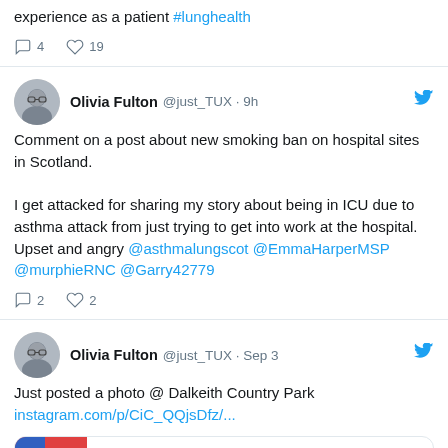experience as a patient #lunghealth
Reply: 4  Like: 19
Olivia Fulton @just_TUX · 9h
Comment on a post about new smoking ban on hospital sites in Scotland.

I get attacked for sharing my story about being in ICU due to asthma attack from just trying to get into work at the hospital. Upset and angry @asthmalungscot @EmmaHarperMSP @murphieRNC @Garry42779
Reply: 2  Like: 2
Olivia Fulton @just_TUX · Sep 3
Just posted a photo @ Dalkeith Country Park instagram.com/p/CiC_QQjsDfz/...
[Figure (screenshot): Instagram link preview showing instagram.com]